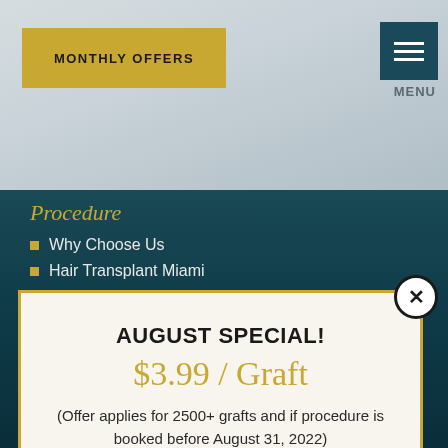MONTHLY OFFERS
Procedure
Why Choose Us
Hair Transplant Miami
AUGUST SPECIAL!
$3.99 / Graft
(Offer applies for 2500+ grafts and if procedure is booked before August 31, 2022)
CLICK TO REDEEM